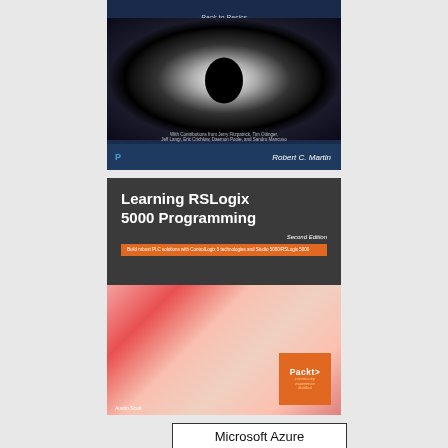[Figure (photo): Book cover of 'Clean Agile: Back to Basics' by Robert C. Martin, featuring a solar eclipse image on a dark blue background, published by Pearson/Prentice Hall]
[Figure (photo): Book cover of 'Learning RSLogix 5000 Programming, Second Edition' by Austin Scott, published by Packt, featuring a pink/red abstract floral image on lower half and bold white title text on dark grey background]
[Figure (photo): Partial book cover showing 'Microsoft Azure' title text in black on white background with a border]